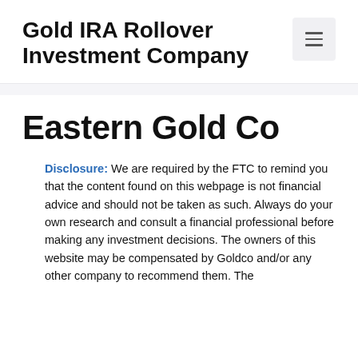Gold IRA Rollover Investment Company
[Figure (other): Hamburger menu button icon with three horizontal lines on a light gray rounded square background]
Eastern Gold Co
Disclosure: We are required by the FTC to remind you that the content found on this webpage is not financial advice and should not be taken as such. Always do your own research and consult a financial professional before making any investment decisions. The owners of this website may be compensated by Goldco and/or any other company to recommend them. The